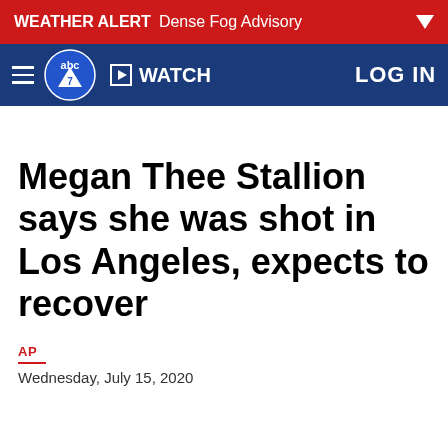WEATHER ALERT Dense Fog Advisory
WATCH  LOG IN
Megan Thee Stallion says she was shot in Los Angeles, expects to recover
AP
Wednesday, July 15, 2020